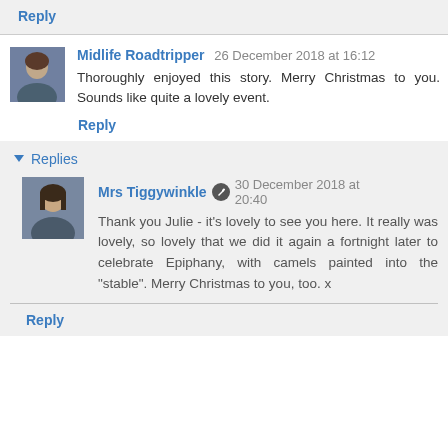Reply
Midlife Roadtripper 26 December 2018 at 16:12
Thoroughly enjoyed this story. Merry Christmas to you. Sounds like quite a lovely event.
Reply
Replies
Mrs Tiggywinkle 30 December 2018 at 20:40
Thank you Julie - it's lovely to see you here. It really was lovely, so lovely that we did it again a fortnight later to celebrate Epiphany, with camels painted into the "stable". Merry Christmas to you, too. x
Reply